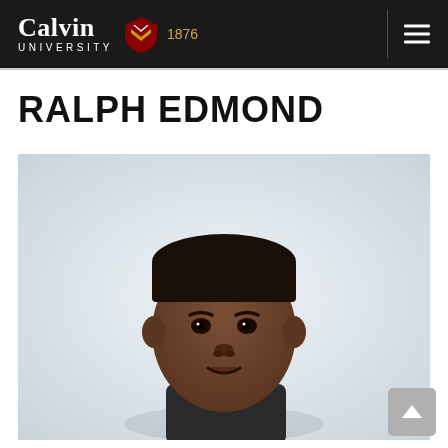Calvin University 1876
RALPH EDMOND
[Figure (photo): Headshot portrait of Ralph Edmond, a man with short dark hair, against a light grey/white background. He is smiling slightly and facing the camera.]